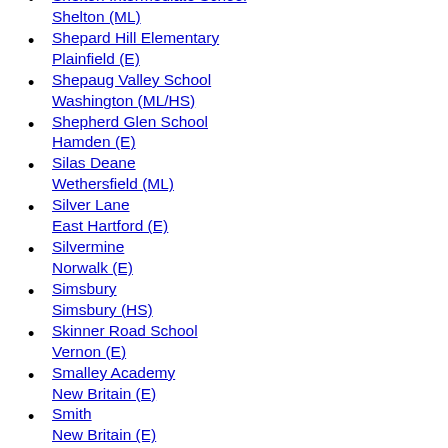Shelton (HS)
Shelton Intermediate School
Shelton (ML)
Shepard Hill Elementary
Plainfield (E)
Shepaug Valley School
Washington (ML/HS)
Shepherd Glen School
Hamden (E)
Silas Deane
Wethersfield (ML)
Silver Lane
East Hartford (E)
Silvermine
Norwalk (E)
Simsbury
Simsbury (HS)
Skinner Road School
Vernon (E)
Smalley Academy
New Britain (E)
Smith
New Britain (E)
Smith
Glastonbury (ML)